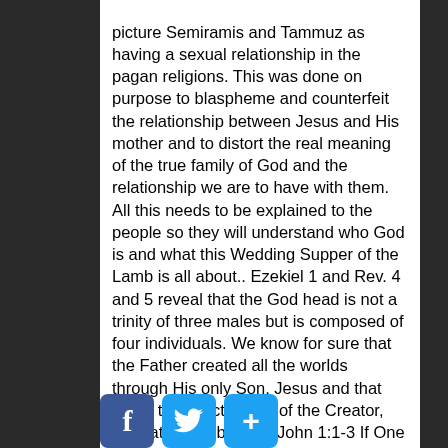picture Semiramis and Tammuz as having a sexual relationship in the pagan religions. This was done on purpose to blaspheme and counterfeit the relationship between Jesus and His mother and to distort the real meaning of the true family of God and the relationship we are to have with them. All this needs to be explained to the people so they will understand who God is and what this Wedding Supper of the Lamb is all about.. Ezekiel 1 and Rev. 4 and 5 reveal that the God head is not a trinity of three males but is composed of four individuals. We know for sure that the Father created all the worlds through His only Son, Jesus and that are in the exact image of the Creator, the Father. Heb. 1:1-3 John 1:1-3 If One man and